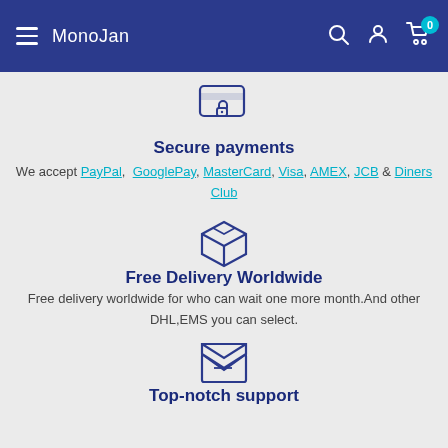MonoJan
[Figure (illustration): Credit card with lock icon - secure payments icon]
Secure payments
We accept PayPal, GooglePay, MasterCard, Visa, AMEX, JCB & Diners Club
[Figure (illustration): 3D box / package icon - free delivery icon]
Free Delivery Worldwide
Free delivery worldwide for who can wait one more month.And other DHL,EMS you can select.
[Figure (illustration): Envelope with letter icon - support icon]
Top-notch support